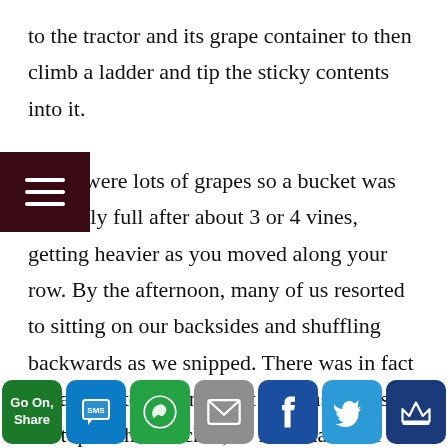to the tractor and its grape container to then climb a ladder and tip the sticky contents into it.

There were lots of grapes so a bucket was normally full after about 3 or 4 vines, getting heavier as you moved along your row. By the afternoon, many of us resorted to sitting on our backsides and shuffling backwards as we snipped. There was in fact advantage to this in that it was easier to see the top of the bunches, so less chance of cutting your fingers with your secateurs. But it was also slower, or maybe that was just because we were very tired.
[Figure (other): Dark red/maroon hamburger menu button overlay in upper left area]
[Figure (infographic): Share bar at bottom with buttons: Go On Share (dark green), SMS/messaging (blue), WhatsApp (green), Email (gray), Facebook (dark blue), Twitter (cyan blue), Crown/other (dark blue)]